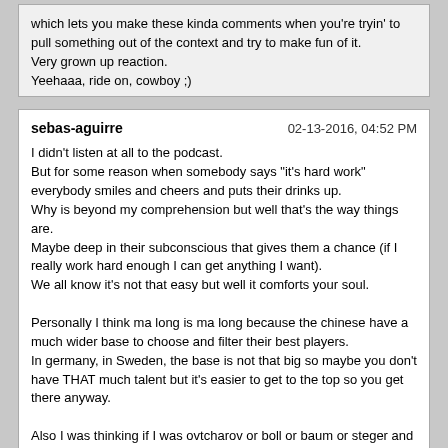which lets you make these kinda comments when you're tryin' to pull something out of the context and try to make fun of it.
Very grown up reaction.
Yeehaaa, ride on, cowboy ;)
sebas-aguirre
02-13-2016, 04:52 PM

I didn't listen at all to the podcast.
But for some reason when somebody says "it's hard work" everybody smiles and cheers and puts their drinks up.
Why is beyond my comprehension but well that's the way things are.
Maybe deep in their subconscious that gives them a chance (if I really work hard enough I can get anything I want).
We all know it's not that easy but well it comforts your soul.

Personally I think ma long is ma long because the chinese have a much wider base to choose and filter their best players.
In germany, in Sweden, the base is not that big so maybe you don't have THAT much talent but it's easier to get to the top so you get there anyway.

Also I was thinking if I was ovtcharov or boll or baum or steger and my coach said this I would probably not like it very much.
Unless I know that there is a substantial difference in the amount the chinese train, which most likely there isn't.
Suga D
02-13-2016, 05:08 PM

Interesting point you make there about the hard work, sebas. I must admit, i've never seen it that way.
Good.

I can not say surely, 'cause i've never been to China. (Maybe someone else can help us here).
But i think i remember that i've read somewhere that the average practice time in China is somewhere around 8 h a day, whereas in germany it used to be 3 hours in the morning, three hours in the afternoon.